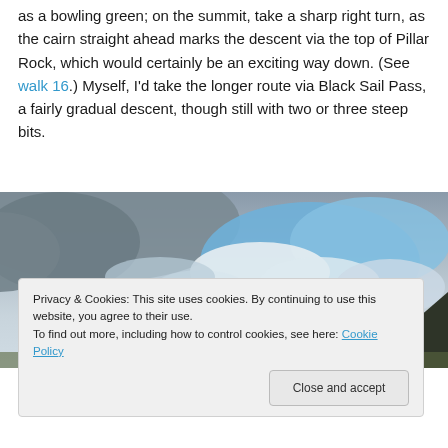as a bowling green; on the summit, take a sharp right turn, as the cairn straight ahead marks the descent via the top of Pillar Rock, which would certainly be an exciting way down. (See walk 16.) Myself, I'd take the longer route via Black Sail Pass, a fairly gradual descent, though still with two or three steep bits.
[Figure (photo): Landscape photograph showing a dramatic cloudy sky with patches of blue, and a dark hillside ridge visible on the right. Green grassy hillside visible at the very bottom.]
Privacy & Cookies: This site uses cookies. By continuing to use this website, you agree to their use.
To find out more, including how to control cookies, see here: Cookie Policy
Close and accept